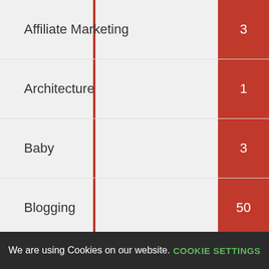| Category | Count |
| --- | --- |
| Affiliate Marketing | 3 |
| Architecture | 1 |
| Baby | 3 |
| Blogging | 50 |
| Business | 3 |
| CIGA Watches | 1 |
| Diplomatic visits | 5 |
| E-Commerce | 7 |
| Elcomp | 3 |
| Electronic Technology | 7 |
We are using Cookies on our website.
COOKIE SETTINGS